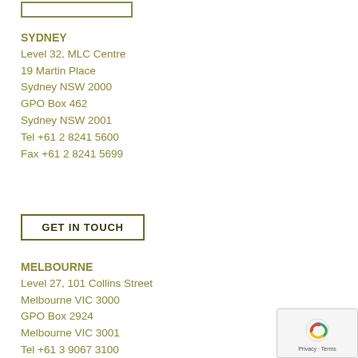[Figure (other): Partial button outline at top of page (cropped)]
SYDNEY
Level 32, MLC Centre
19 Martin Place
Sydney NSW 2000
GPO Box 462
Sydney NSW 2001
Tel +61 2 8241 5600
Fax +61 2 8241 5699
GET IN TOUCH
MELBOURNE
Level 27, 101 Collins Street
Melbourne VIC 3000
GPO Box 2924
Melbourne VIC 3001
Tel +61 3 9067 3100
Fax +61 3 9067 3199